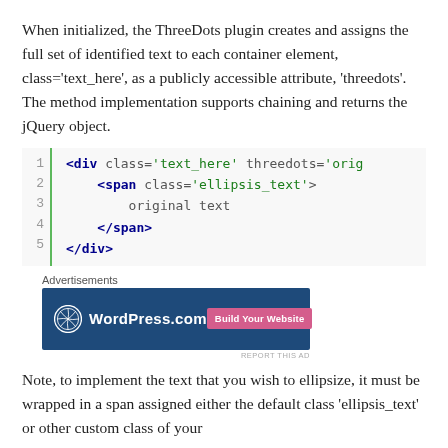When initialized, the ThreeDots plugin creates and assigns the full set of identified text to each container element, class='text_here', as a publicly accessible attribute, 'threedots'.  The method implementation supports chaining and returns the jQuery object.
[Figure (screenshot): Code block showing HTML snippet with line numbers 1-5 and a green left border. Lines show: <div class='text_here' threedots='orig   <span class='ellipsis_text'>   original text   </span>   </div>]
[Figure (screenshot): Advertisement banner for WordPress.com with dark blue background, WordPress logo, 'WordPress.com' text in white, and a pink 'Build Your Website' button. Labeled 'Advertisements' above and 'REPORT THIS AD' below.]
Note, to implement the text that you wish to ellipsize, it must be wrapped in a span assigned either the default class 'ellipsis_text' or other custom class of your